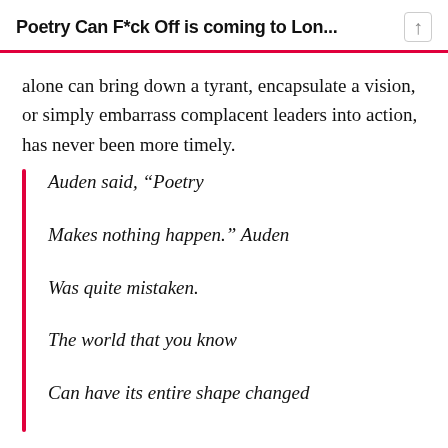Poetry Can F*ck Off is coming to Lon...
alone can bring down a tyrant, encapsulate a vision, or simply embarrass complacent leaders into action, has never been more timely.
Auden said, “Poetry

Makes nothing happen.” Auden

Was quite mistaken.

The world that you know

Can have its entire shape changed